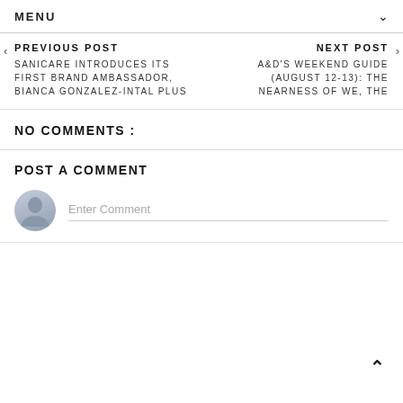MENU
PREVIOUS POST
SANICARE INTRODUCES ITS FIRST BRAND AMBASSADOR, BIANCA GONZALEZ-INTAL PLUS
NEXT POST
A&D'S WEEKEND GUIDE (AUGUST 12-13): THE NEARNESS OF WE, THE
NO COMMENTS :
POST A COMMENT
Enter Comment